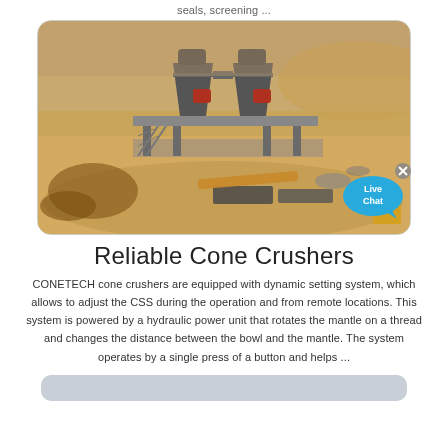seals, screening ...
[Figure (photo): Industrial cone crusher machinery on a sandy construction/mining site. Two large cone crusher units mounted on a raised steel platform with support columns, surrounded by scattered construction materials, timber, and sandy terrain.]
Reliable Cone Crushers
CONETECH cone crushers are equipped with dynamic setting system, which allows to adjust the CSS during the operation and from remote locations. This system is powered by a hydraulic power unit that rotates the mantle on a thread and changes the distance between the bowl and the mantle. The system operates by a single press of a button and helps ...